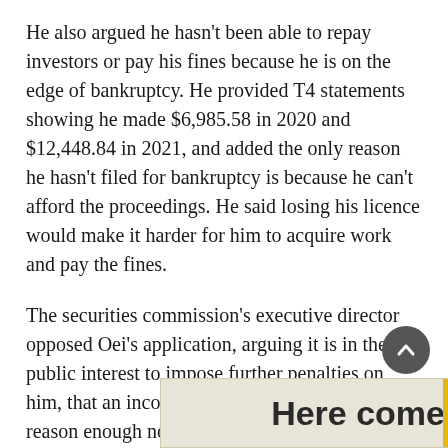He also argued he hasn't been able to repay investors or pay his fines because he is on the edge of bankruptcy. He provided T4 statements showing he made $6,985.58 in 2020 and $12,448.84 in 2021, and added the only reason he hasn't filed for bankruptcy is because he can't afford the proceedings. He said losing his licence would make it harder for him to acquire work and pay the fines.
The securities commission's executive director opposed Oei's application, arguing it is in the public interest to impose further penalties on him, that an inconvenience to his family is not reason enough not to, and that Oei failed to prove how a lack of licence would limit job opportunities.
[partial line obscured]
[Figure (other): Advertisement banner showing partial text 'Here come' with yellow accent bar on right edge]